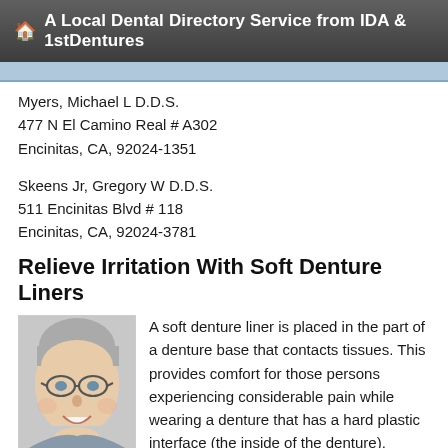🏠 A Local Dental Directory Service from IDA & 1stDentures
Myers, Michael L D.D.S.
477 N El Camino Real # A302
Encinitas, CA, 92024-1351
Skeens Jr, Gregory W D.D.S.
511 Encinitas Blvd # 118
Encinitas, CA, 92024-3781
Relieve Irritation With Soft Denture Liners
[Figure (photo): Elderly smiling woman with glasses and gray hair]
A soft denture liner is placed in the part of a denture base that contacts tissues. This provides comfort for those persons experiencing considerable pain while wearing a denture that has a hard plastic interface (the inside of the denture).
These… read more
If Your Dentures Make Your Mouth Sore